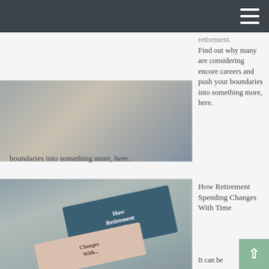Find out why many are considering encore careers and push your boundaries into something more, here.
[Figure (photo): Two people in aprons holding a potted plant — a retirement encore careers scene]
How Retirement Spending Changes With Time
[Figure (photo): Books titled 'How Retirement Spending Changes With Time' stacked on a gray background]
It can be